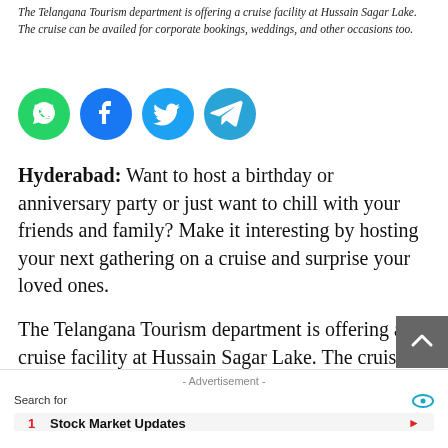The Telangana Tourism department is offering a cruise facility at Hussain Sagar Lake. The cruise can be availed for corporate bookings, weddings, and other occasions too.
[Figure (infographic): Four social media sharing buttons in circular icons: WhatsApp (green), Facebook (dark blue), Twitter (light blue), Telegram (blue)]
Hyderabad: Want to host a birthday or anniversary party or just want to chill with your friends and family? Make it interesting by hosting your next gathering on a cruise and surprise your loved ones.
The Telangana Tourism department is offering a cruise facility at Hussain Sagar Lake. The cruise can be availed for corporate bookings, weddings, and other occasions too.
- Advertisement - Search for  1 Stock Market Updates